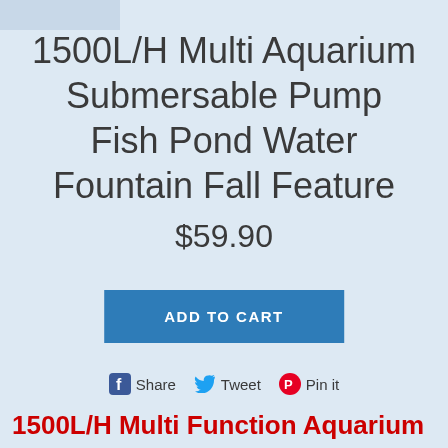1500L/H Multi Aquarium Submersable Pump Fish Pond Water Fountain Fall Feature
$59.90
ADD TO CART
Share  Tweet  Pin it
1500L/H Multi Function Aquarium